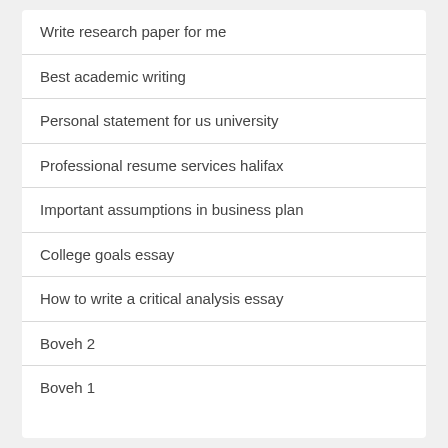Write research paper for me
Best academic writing
Personal statement for us university
Professional resume services halifax
Important assumptions in business plan
College goals essay
How to write a critical analysis essay
Boveh 2
Boveh 1